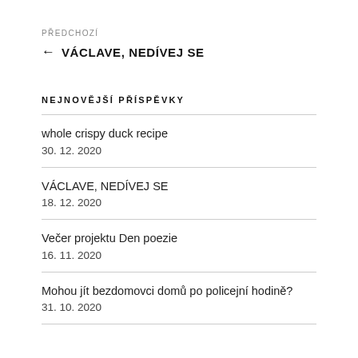PŘEDCHOZÍ
← VÁCLAVE, NEDÍVEJ SE
NEJNOVĚJŠÍ PŘÍSPĚVKY
whole crispy duck recipe
30. 12. 2020
VÁCLAVE, NEDÍVEJ SE
18. 12. 2020
Večer projektu Den poezie
16. 11. 2020
Mohou jít bezdomovci domů po policejní hodině?
31. 10. 2020